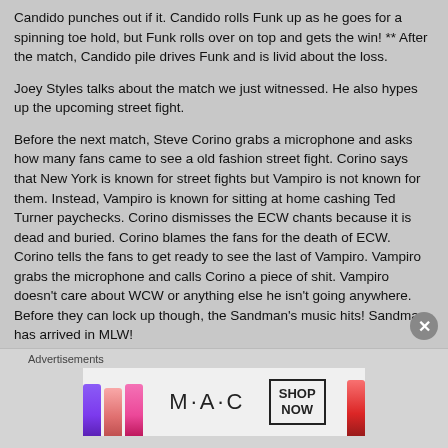Candido punches out if it. Candido rolls Funk up as he goes for a spinning toe hold, but Funk rolls over on top and gets the win! ** After the match, Candido pile drives Funk and is livid about the loss.
Joey Styles talks about the match we just witnessed. He also hypes up the upcoming street fight.
Before the next match, Steve Corino grabs a microphone and asks how many fans came to see a old fashion street fight. Corino says that New York is known for street fights but Vampiro is not known for them. Instead, Vampiro is known for sitting at home cashing Ted Turner paychecks. Corino dismisses the ECW chants because it is dead and buried. Corino blames the fans for the death of ECW. Corino tells the fans to get ready to see the last of Vampiro. Vampiro grabs the microphone and calls Corino a piece of shit. Vampiro doesn't care about WCW or anything else he isn't going anywhere. Before they can lock up though, the Sandman's music hits! Sandman has arrived in MLW!
Advertisements
[Figure (photo): MAC cosmetics advertisement banner showing lipsticks in purple, peach, pink, and red colors with MAC logo and SHOP NOW button]